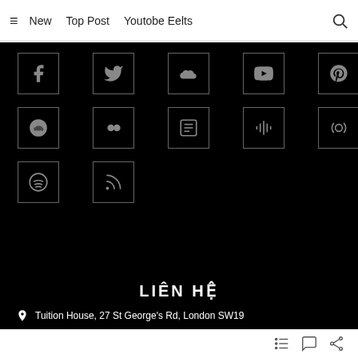≡  New  Top Post  Youtobe Eelts  🔍
[Figure (screenshot): Grid of social media icons on black background: Facebook, Twitter, SoundCloud, YouTube, Pinterest (row 1); Reddit, Flickr/Letterboxd, News, Google Podcasts, Podcasts (row 2); Spotify, RSS (row 3)]
LIÊN HỆ
📍 Tuition House, 27 St George's Rd, London SW19
≡ (list) 💬 (share)